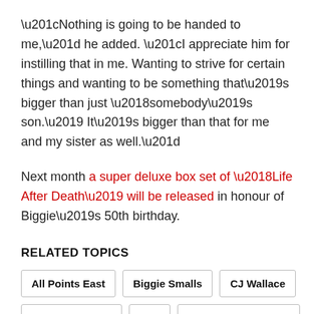“Nothing is going to be handed to me,” he added. “I appreciate him for instilling that in me. Wanting to strive for certain things and wanting to be something that’s bigger than just ‘somebody’s son.’ It’s bigger than that for me and my sister as well.”
Next month a super deluxe box set of ‘Life After Death’ will be released in honour of Biggie’s 50th birthday.
RELATED TOPICS
All Points East
Biggie Smalls
CJ Wallace
Notorious B.I.G.
Rap
The Notorious B.I.G.